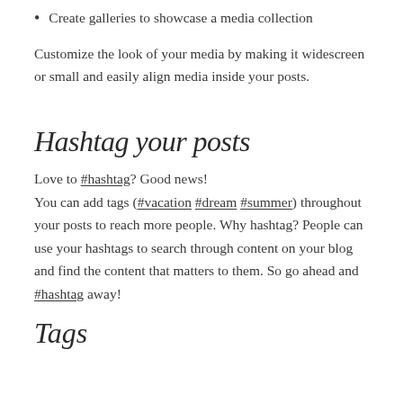Create galleries to showcase a media collection
Customize the look of your media by making it widescreen or small and easily align media inside your posts.
Hashtag your posts
Love to #hashtag? Good news! You can add tags (#vacation #dream #summer) throughout your posts to reach more people. Why hashtag? People can use your hashtags to search through content on your blog and find the content that matters to them. So go ahead and #hashtag away!
Tags